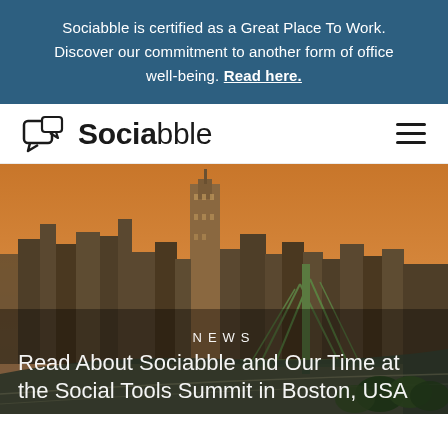Sociabble is certified as a Great Place To Work. Discover our commitment to another form of office well-being. Read here.
[Figure (logo): Sociabble logo with chat bubble icon and hamburger menu icon on white navigation bar]
[Figure (photo): Aerial photograph of Boston, USA skyline at sunset/dusk with orange sky, showing skyscrapers including the Prudential Tower, and highway interchange in foreground. Overlaid text: NEWS label and headline 'Read About Sociabble and Our Time at the Social Tools Summit in Boston, USA']
Read About Sociabble and Our Time at the Social Tools Summit in Boston, USA